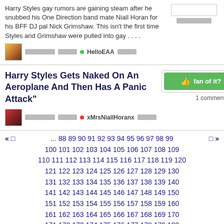Harry Styles gay rumors are gaining steam after he snubbed his One Direction band mate Niall Horan for his BFF DJ pal Nick Grimshaw. This isn't the first time Styles and Grimshaw were pulled into gay . . . .
[redacted] [redacted] • HelloEAA [redacted]
Harry Styles Gets Naked On An Aeroplane And Then Has A Panic Attack"
1 comment
[redacted] [redacted] • xMrsNiallHoranx [redacted]
« □ ... 88 89 90 91 92 93 94 95 96 97 98 99 100 101 102 103 104 105 106 107 108 109 110 111 112 113 114 115 116 117 118 119 120 121 122 123 124 125 126 127 128 129 130 131 132 133 134 135 136 137 138 139 140 141 142 143 144 145 146 147 148 149 150 151 152 153 154 155 156 157 158 159 160 161 162 163 164 165 166 167 168 169 170 171 172 173 174 175 176 177 178 179 180 181 182 183 184 185 186 187 188 189 190 191 192 193 194 195 196 197 198 199 200 □ »